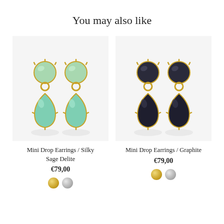You may also like
[Figure (photo): Mini Drop Earrings in Silky Sage Delite color — green/teal crystal drop earrings with gold settings, pair shown on light grey background]
Mini Drop Earrings / Silky Sage Delite
€79,00
[Figure (photo): Mini Drop Earrings in Graphite color — dark/black crystal drop earrings with gold settings, pair shown on light grey background]
Mini Drop Earrings / Graphite
€79,00